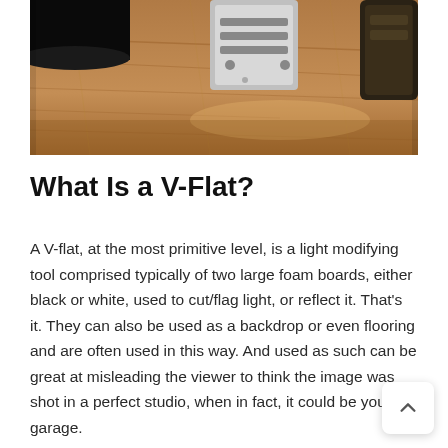[Figure (photo): Close-up photo of photography and studio equipment on a wooden surface — includes what appears to be a black cylindrical object, a metallic guitar bridge or clamp, and a dark textured item, all on a warm wood-grain table.]
What Is a V-Flat?
A V-flat, at the most primitive level, is a light modifying tool comprised typically of two large foam boards, either black or white, used to cut/flag light, or reflect it. That's it. They can also be used as a backdrop or even flooring and are often used in this way. And used as such can be great at misleading the viewer to think the image was shot in a perfect studio, when in fact, it could be your garage.